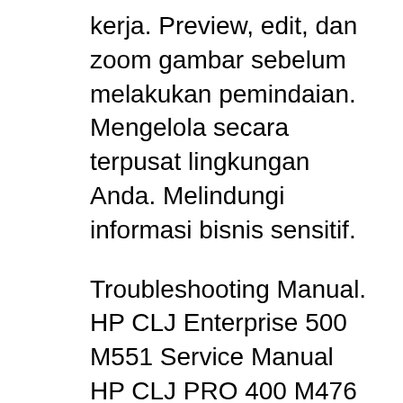kerja. Preview, edit, dan zoom gambar sebelum melakukan pemindaian. Mengelola secara terpusat lingkungan Anda. Melindungi informasi bisnis sensitif.
Troubleshooting Manual. HP CLJ Enterprise 500 M551 Service Manual HP CLJ PRO 400 M476 Repair Manual. LaserJet. View. HP LJ Classics I-II-III-D-M-2000 Troubleshooting HP LJ 4345 MFP Service Manual HP LJ M525 Enterprise 500 Service Manual. HP LaserJet Enterprise 500 MFP M521 series. 95. HP LaserJet Enterprise 500 MFP M525 series. 96. HP LASERJET ENTERPRISE 500 MFP M525 SERVICE - note: This is a review of the trial version of Hp Laserjet